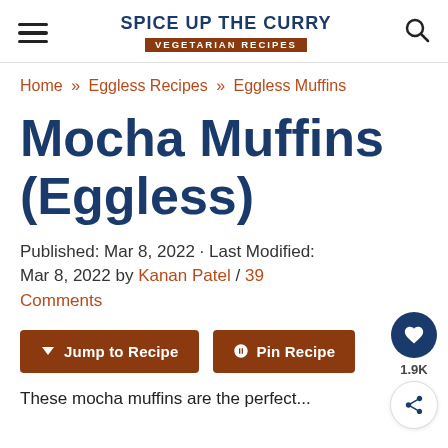Spice Up The Curry — Vegetarian Recipes
Home » Eggless Recipes » Eggless Muffins
Mocha Muffins (Eggless)
Published: Mar 8, 2022 · Last Modified: Mar 8, 2022 by Kanan Patel / 39 Comments
Jump to Recipe  Pin Recipe
These mocha muffins are the perfect...